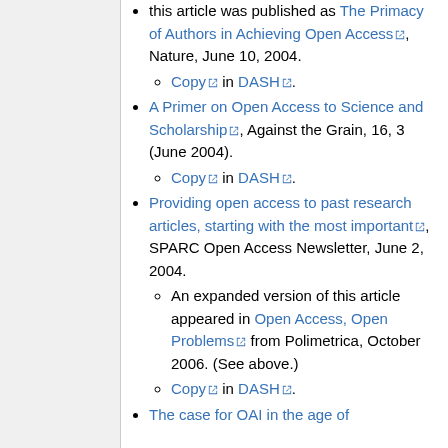this article was published as The Primacy of Authors in Achieving Open Access, Nature, June 10, 2004.
Copy in DASH.
A Primer on Open Access to Science and Scholarship, Against the Grain, 16, 3 (June 2004).
Copy in DASH.
Providing open access to past research articles, starting with the most important, SPARC Open Access Newsletter, June 2, 2004.
An expanded version of this article appeared in Open Access, Open Problems from Polimetrica, October 2006. (See above.)
Copy in DASH.
The case for OAI in the age of